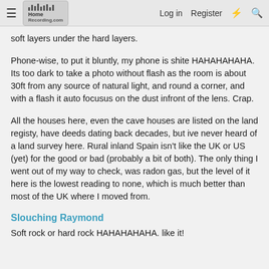HomeRecording.com | Log in | Register
soft layers under the hard layers.
Phone-wise, to put it bluntly, my phone is shite HAHAHAHAHA. Its too dark to take a photo without flash as the room is about 30ft from any source of natural light, and round a corner, and with a flash it auto focusus on the dust infront of the lens. Crap.
All the houses here, even the cave houses are listed on the land registy, have deeds dating back decades, but ive never heard of a land survey here. Rural inland Spain isn't like the UK or US (yet) for the good or bad (probably a bit of both). The only thing I went out of my way to check, was radon gas, but the level of it here is the lowest reading to none, which is much better than most of the UK where I moved from.
Slouching Raymond
Soft rock or hard rock HAHAHAHAHA. like it!